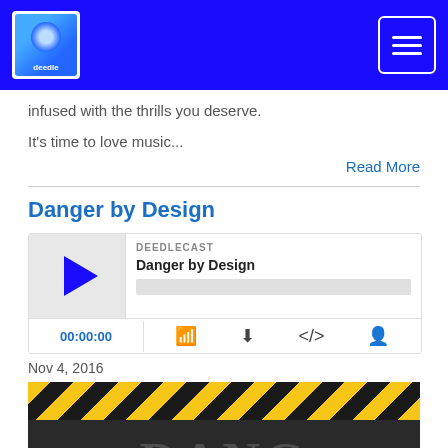deedle [logo] [hamburger menu]
infused with the thrills you deserve.
It's time to love music...
Read More
Danger by Design
[Figure (other): Podcast player widget for 'Danger by Design' episode on DEEDLECAST showing play button, progress bar, time 00:00:00 and controls for subscribe, download, embed, and share]
Nov 4, 2016
[Figure (photo): Danger by Design episode artwork showing hazard tape yellow and black diagonal stripes at top and large dark letters DANG... below on dark background]